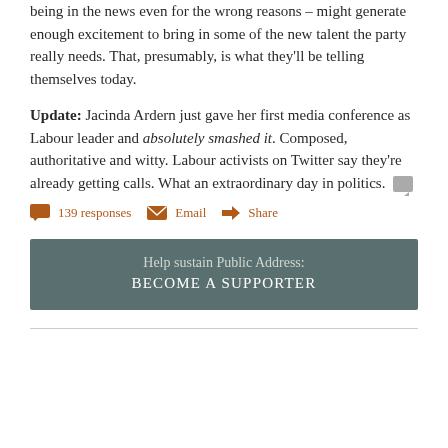being in the news even for the wrong reasons – might generate enough excitement to bring in some of the new talent the party really needs. That, presumably, is what they'll be telling themselves today.
Update: Jacinda Ardern just gave her first media conference as Labour leader and absolutely smashed it. Composed, authoritative and witty. Labour activists on Twitter say they're already getting calls. What an extraordinary day in politics.
139 responses   Email   Share
Help sustain Public Address: BECOME A SUPPORTER